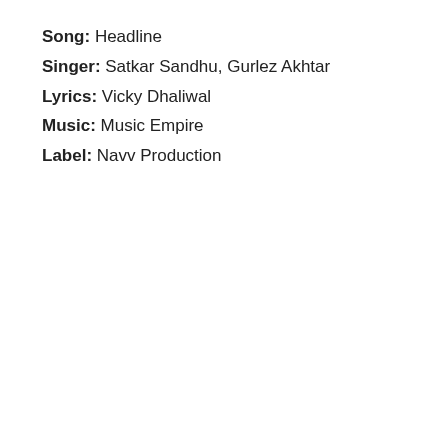Song: Headline
Singer: Satkar Sandhu, Gurlez Akhtar
Lyrics: Vicky Dhaliwal
Music: Music Empire
Label: Navv Production